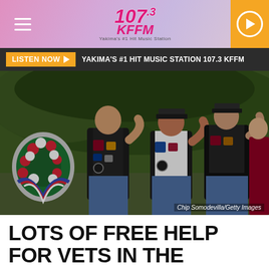107.3 KFFM - Yakima's #1 Hit Music Station
LISTEN NOW ▶  YAKIMA'S #1 HIT MUSIC STATION 107.3 KFFM
[Figure (photo): Three veterans in motorcycle club vests saluting at a memorial ceremony with a red, white and blue floral wreath in the foreground and green trees in the background. Photo credit: Chip Somodevilla/Getty Images]
Chip Somodevilla/Getty Images
LOTS OF FREE HELP FOR VETS IN THE SUNDOME SATURDAY